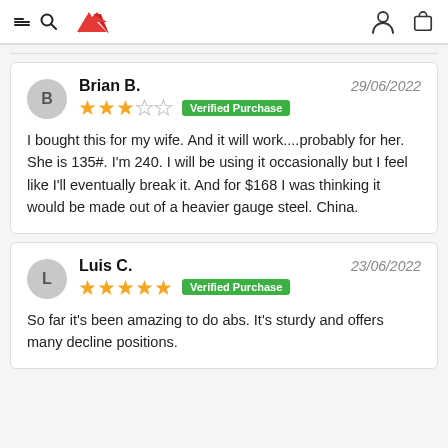Navigation header with hamburger menu, search, logo, user icon, cart icon
Brian B. — 29/06/2022 — 3 stars — Verified Purchase
I bought this for my wife. And it will work....probably for her. She is 135#. I'm 240. I will be using it occasionally but I feel like I'll eventually break it. And for $168 I was thinking it would be made out of a heavier gauge steel. China.
Luis C. — 23/06/2022 — 5 stars — Verified Purchase
So far it's been amazing to do abs. It's sturdy and offers many decline positions.